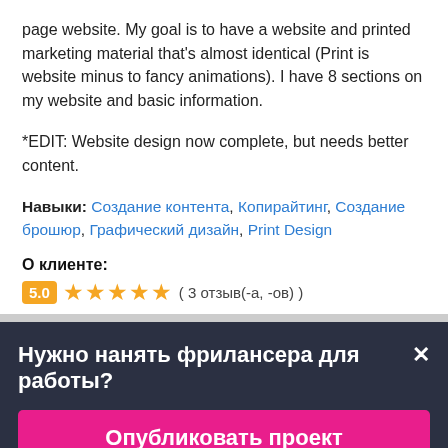page website. My goal is to have a website and printed marketing material that's almost identical (Print is website minus to fancy animations). I have 8 sections on my website and basic information.
*EDIT: Website design now complete, but needs better content.
Навыки: Создание контента, Копирайтинг, Создание брошюр, Графический дизайн, Print Design
О клиенте:
5.0 ★★★★★ ( 3 отзыв(-а, -ов) )
Нужно нанять фрилансера для работы?
Опубликовать проект